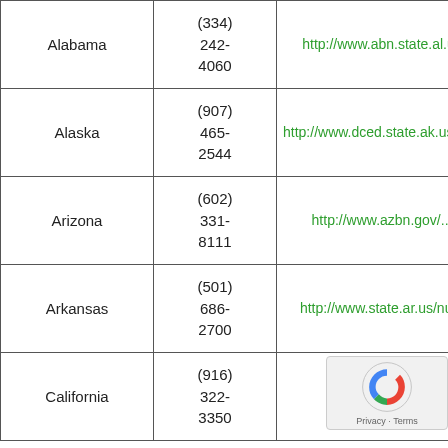| State | Phone | URL |
| --- | --- | --- |
| Alabama | (334) 242-4060 | http://www.abn.state.al.us |
| Alaska | (907) 465-2544 | http://www.dced.state.ak.us/occ/p |
| Arizona | (602) 331-8111 | http://www.azbn.gov/... |
| Arkansas | (501) 686-2700 | http://www.state.ar.us/nurs |
| California | (916) 322-3350 | http://www.rn.c |